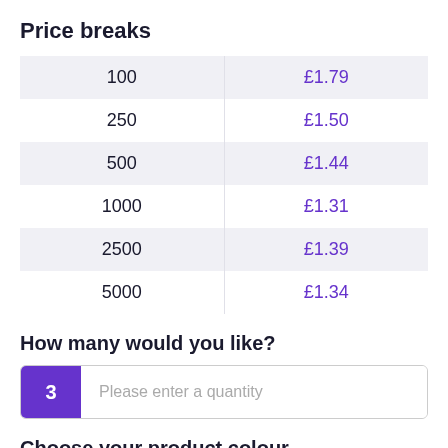Price breaks
| Quantity | Price |
| --- | --- |
| 100 | £1.79 |
| 250 | £1.50 |
| 500 | £1.44 |
| 1000 | £1.31 |
| 2500 | £1.39 |
| 5000 | £1.34 |
How many would you like?
3  Please enter a quantity
Choose your product colour
4  Product colour: Please choose...